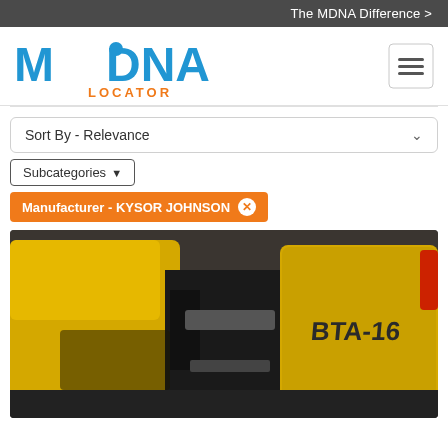The MDNA Difference >
[Figure (logo): MDNA Locator logo in blue and orange]
Sort By - Relevance
Subcategories
Manufacturer - KYSOR JOHNSON ✕
[Figure (photo): Yellow industrial band saw machine labeled BTA-16 in a workshop setting]